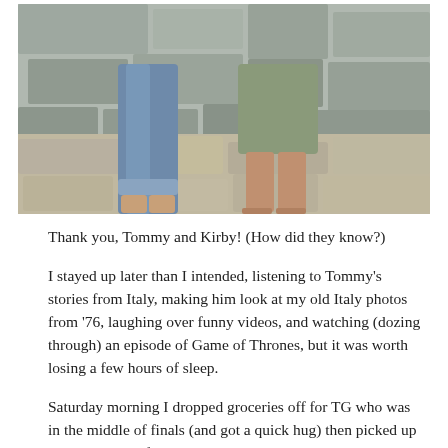[Figure (photo): Cropped photo showing legs and lower bodies of two people standing on a stone surface with rocky wall background. One person wears blue jeans rolled up at the ankle, the other wears olive/teal shorts.]
Thank you, Tommy and Kirby! (How did they know?)
I stayed up later than I intended, listening to Tommy's stories from Italy, making him look at my old Italy photos from '76, laughing over funny videos, and watching (dozing through) an episode of Game of Thrones, but it was worth losing a few hours of sleep.
Saturday morning I dropped groceries off for TG who was in the middle of finals (and got a quick hug) then picked up my middle one for a road trip to Houston to spend Mother's Day with my mom.